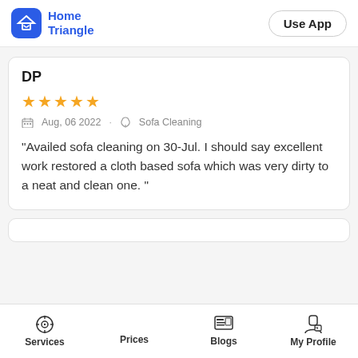[Figure (logo): HomeTriangle logo with blue house icon and blue text]
Use App
DP
★★★★★
Aug, 06 2022 · Sofa Cleaning
"Availed sofa cleaning on 30-Jul. I should say excellent work restored a cloth based sofa which was very dirty to a neat and clean one. "
Services  Prices  Blogs  My Profile